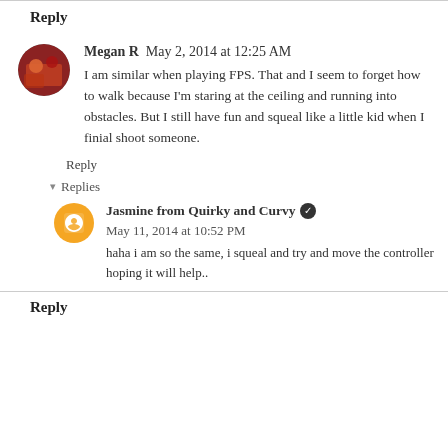Reply
Megan R  May 2, 2014 at 12:25 AM
I am similar when playing FPS. That and I seem to forget how to walk because I'm staring at the ceiling and running into obstacles. But I still have fun and squeal like a little kid when I finial shoot someone.
Reply
Replies
Jasmine from Quirky and Curvy  May 11, 2014 at 10:52 PM
haha i am so the same, i squeal and try and move the controller hoping it will help..
Reply